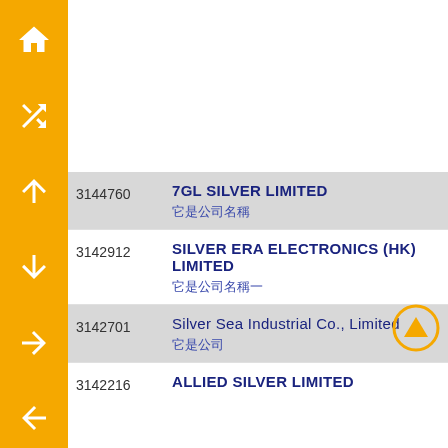[Figure (infographic): Orange vertical sidebar with navigation icons: home, shuffle/random, up arrow, down arrow, right arrow, left arrow]
| ID | Company Name / Chinese Name |
| --- | --- |
| 3144760 | 7GL SILVER LIMITED / 七結白銀有限公司 |
| 3142912 | SILVER ERA ELECTRONICS (HK) LIMITED / 銀代電子(香港)有限公司 |
| 3142701 | Silver Sea Industrial Co., Limited / 銀海實業有限公司 |
| 3142216 | ALLIED SILVER LIMITED |